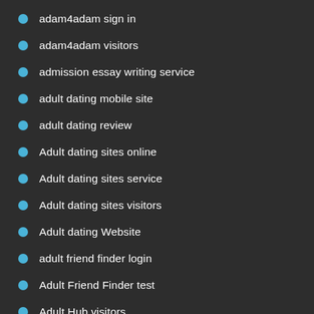adam4adam sign in
adam4adam visitors
admission essay writing service
adult dating mobile site
adult dating review
Adult dating sites online
Adult dating sites service
Adult dating sites visitors
Adult dating Website
adult friend finder login
Adult Friend Finder test
Adult Hub visitors
adult-chat-rooms reviews
Adult-Friend-Finder recenze
adultdatingwebsites.net badoo dating site